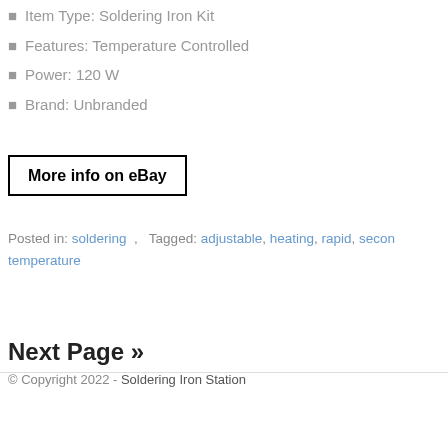Item Type: Soldering Iron Kit
Features: Temperature Controlled
Power: 120 W
Brand: Unbranded
[Figure (other): Button linking to eBay with text 'More info on eBay']
Posted in: soldering ,  Tagged: adjustable, heating, rapid, second, temperature
Next Page »
© Copyright 2022 - Soldering Iron Station